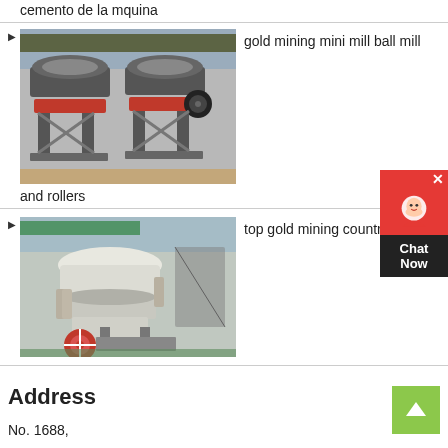cemento de la mquina
gold mining mini mill ball mill and rollers
[Figure (photo): Industrial cone crushers (gray with red rings) in a factory setting]
top gold mining countries
[Figure (photo): Industrial cone crusher (white/cream colored with red wheel) in a factory setting]
Address
No. 1688,